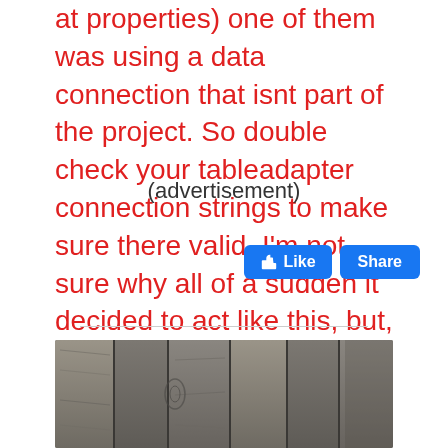at properties) one of them was using a data connection that isnt part of the project. So double check your tableadapter connection strings to make sure there valid. I'm not sure why all of a sudden it decided to act like this, but, this might save you some time.
(advertisement)
[Figure (other): Facebook Like and Share buttons]
[Figure (photo): Wooden planks background photo, grey weathered wood texture]